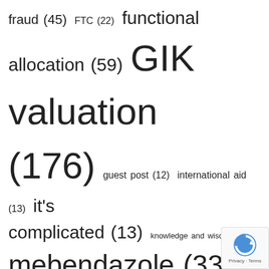fraud (45) FTC (22) functional allocation (59) GIK valuation (176) guest post (12) international aid (13) it's complicated (13) knowledge and wisdom (4) mebendazole (33) mileage rates (14) money laundering (6) nonprofit accounting (37) nonprofit tax (5) outcome measures (8) overhead ratios (93) Passion week (10) review (9) social media (10) starvation cycle (8) tragedy of fraud (7) trapped by technology (8) unemployment rate (7) unintended consequences (27) World Help (18) World Vision (12) WWP (25)